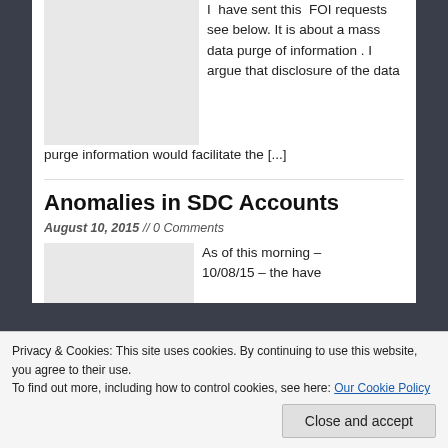I have sent this FOI requests see below. It is about a mass data purge of information . I argue that disclosure of the data purge information would facilitate the [...]
Anomalies in SDC Accounts
August 10, 2015 // 0 Comments
As of this morning – 10/08/15 – the have
Privacy & Cookies: This site uses cookies. By continuing to use this website, you agree to their use.
To find out more, including how to control cookies, see here: Our Cookie Policy